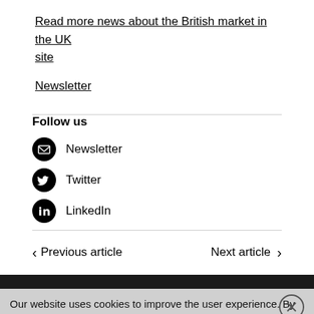Read more news about the British market in the UK site
Newsletter
Follow us
Newsletter
Twitter
LinkedIn
Previous article
Next article
Our website uses cookies to improve the user experience. By continuing to use this site you agree to our use of cookies. [Cookies]